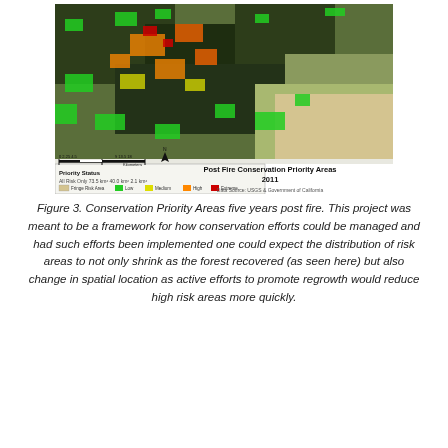[Figure (map): Post Fire Conservation Priority Areas 2011 map showing satellite/aerial imagery overlaid with color-coded conservation priority areas (Low=green, Medium=yellow, High=orange, Extreme=red) and a Fringe Risk Area (tan). Legend shows Priority Status with area values: All Risk Only 73.5 km², 40.0 km², 2.1 km². Data Source: USGS & Government of California.]
Figure 3. Conservation Priority Areas five years post fire. This project was meant to be a framework for how conservation efforts could be managed and had such efforts been implemented one could expect the distribution of risk areas to not only shrink as the forest recovered (as seen here) but also change in spatial location as active efforts to promote regrowth would reduce high risk areas more quickly.